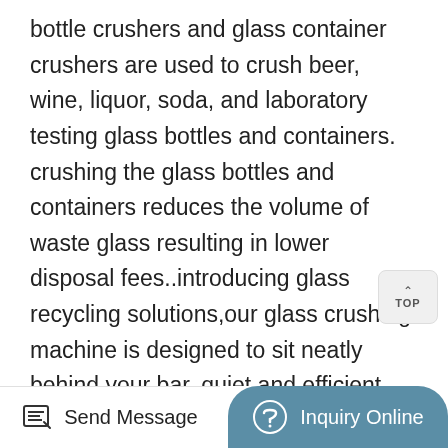bottle crushers and glass container crushers are used to crush beer, wine, liquor, soda, and laboratory testing glass bottles and containers. crushing the glass bottles and containers reduces the volume of waste glass resulting in lower disposal fees..introducing glass recycling solutions,our glass crushing machine is designed to sit neatly behind your bar. quiet and efficient, our machine can crush up to 80 bottles per minute and store up to 300 beer bottles or 200 wine bottles in eve bottlecycler bin. how does it work? simply feed the empty glass bottles into the top. the bottles will be instantly (and.crushing glass for recycling purposes,crushing is the first step in glass recycling. this makes the entire procedure different from reusing, which does not apply any reshaping or melting. crushing broken glasses
Send Message | Inquiry Online